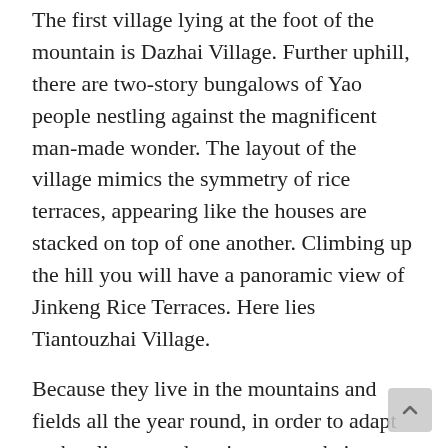The first village lying at the foot of the mountain is Dazhai Village. Further uphill, there are two-story bungalows of Yao people nestling against the magnificent man-made wonder. The layout of the village mimics the symmetry of rice terraces, appearing like the houses are stacked on top of one another. Climbing up the hill you will have a panoramic view of Jinkeng Rice Terraces. Here lies Tiantouzhai Village.
Because they live in the mountains and fields all the year round, in order to adapt to the climate and environment, their bungalows are stilted buildings built on the terrain, often against the mountain and the water, reflecting the harmony between man and nature. The climate here is wet, rainy and hot; in order to ventilated, prevent moisture and protect from the attack of wild animals, people don't live in the lower floor of the stilted bungalows, instead to store farm